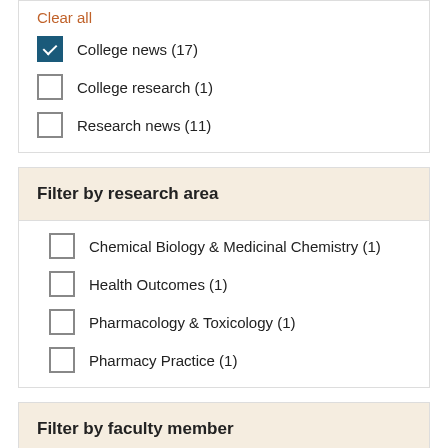Clear all
College news (17)
College research (1)
Research news (11)
Filter by research area
Chemical Biology & Medicinal Chemistry (1)
Health Outcomes (1)
Pharmacology & Toxicology (1)
Pharmacy Practice (1)
Filter by faculty member